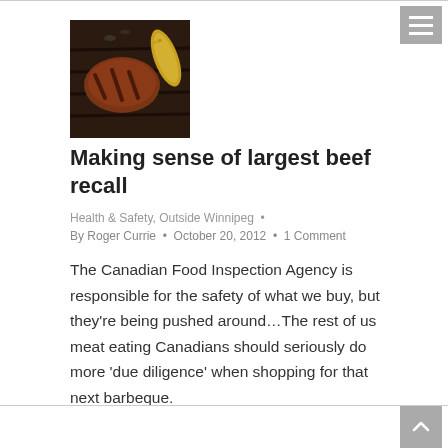[Figure (photo): Thumbnail photo of beef/meat on a grill]
Making sense of largest beef recall
Health & Safety, Outside Winnipeg · By Roger Currie · October 20, 2012 · 1 Comment
The Canadian Food Inspection Agency is responsible for the safety of what we buy, but they're being pushed around…The rest of us meat eating Canadians should seriously do more 'due diligence' when shopping for that next barbeque.